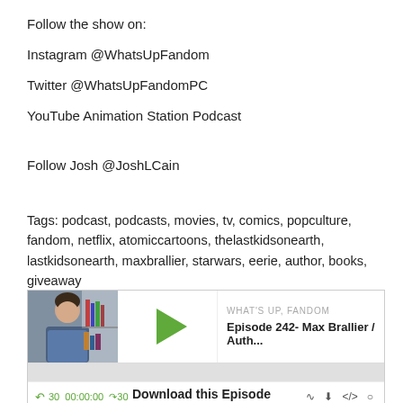Follow the show on:
Instagram @WhatsUpFandom
Twitter @WhatsUpFandomPC
YouTube Animation Station Podcast
Follow Josh @JoshLCain
Tags: podcast, podcasts, movies, tv, comics, popculture, fandom, netflix, atomiccartoons, thelastkidsonearth, lastkidsonearth, maxbrallier, starwars, eerie, author, books, giveaway
[Figure (screenshot): Podcast audio player widget showing episode 'Episode 242- Max Brallier / Auth...' from 'WHAT'S UP, FANDOM' with play button, progress bar, and controls showing 30s skip, 00:00:00 time, and +30s skip]
Download this Episode